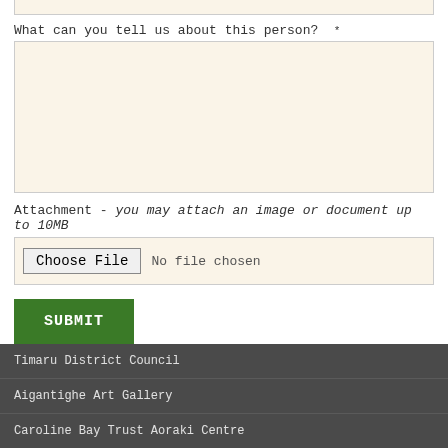What can you tell us about this person? *
Attachment - you may attach an image or document up to 10MB
No file chosen
SUBMIT
Timaru District Council
Aigantighe Art Gallery
Caroline Bay Trust Aoraki Centre